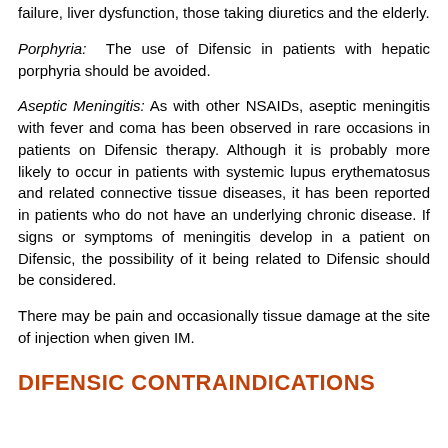failure, liver dysfunction, those taking diuretics and the elderly.
Porphyria: The use of Difensic in patients with hepatic porphyria should be avoided.
Aseptic Meningitis: As with other NSAIDs, aseptic meningitis with fever and coma has been observed in rare occasions in patients on Difensic therapy. Although it is probably more likely to occur in patients with systemic lupus erythematosus and related connective tissue diseases, it has been reported in patients who do not have an underlying chronic disease. If signs or symptoms of meningitis develop in a patient on Difensic, the possibility of it being related to Difensic should be considered.
There may be pain and occasionally tissue damage at the site of injection when given IM.
DIFENSIC CONTRAINDICATIONS